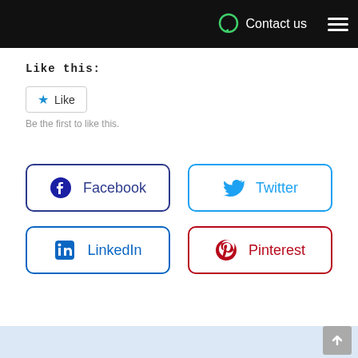Contact us
Like this:
Like
Be the first to like this.
[Figure (infographic): Social sharing buttons: Facebook, Twitter, LinkedIn, Pinterest]